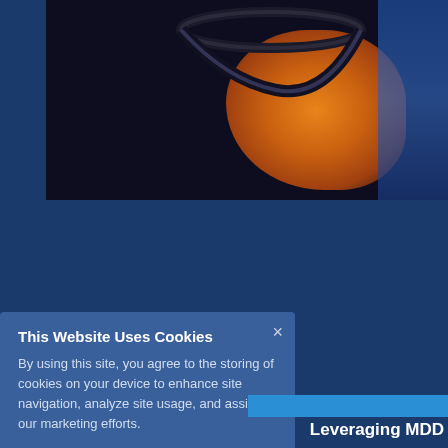[Figure (photo): Close-up macro photograph of what appears to be a glass or lens with an orange/amber glow against a dark blue-black background, with a metallic ring visible at the top]
This Website Uses Cookies
By using this site, you agree to the storing of cookies on your device to enhance site navigation, analyze site usage, and assist in our marketing efforts.
Leveraging MDD